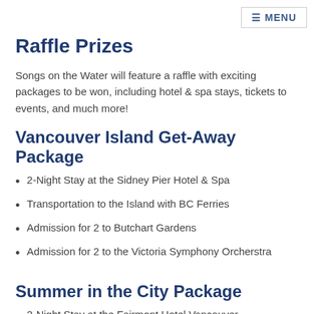≡ MENU
Raffle Prizes
Songs on the Water will feature a raffle with exciting packages to be won, including hotel & spa stays, tickets to events, and much more!
Vancouver Island Get-Away Package
2-Night Stay at the Sidney Pier Hotel & Spa
Transportation to the Island with BC Ferries
Admission for 2 to Butchart Gardens
Admission for 2 to the Victoria Symphony Orcherstra
Summer in the City Package
2-Night Stay at the Fairmont Hotel Vancouver
2 Tickets to Bard on the Beach 2019 Season